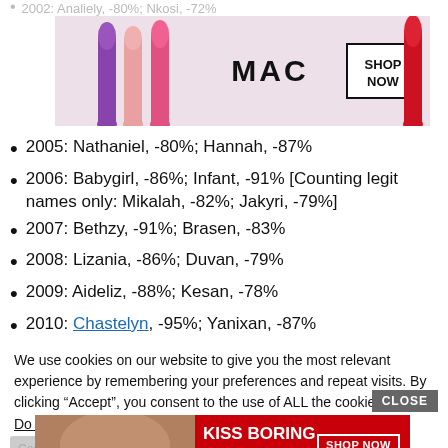2002: Analiely, -80%; Nkosi, -72%
[Figure (other): MAC Cosmetics advertisement banner showing lipsticks in purple, pink, and red with MAC logo and SHOP NOW button]
2005: Nathaniel, -80%; Hannah, -87%
2006: Babygirl, -86%; Infant, -91% [Counting legit names only: Mikalah, -82%; Jakyri, -79%]
2007: Bethzy, -91%; Brasen, -83%
2008: Lizania, -86%; Duvan, -79%
2009: Aideliz, -88%; Kesan, -78%
2010: Chastelyn, -95%; Yanixan, -87%
2011: Samuel, -79%; Tiger, -80%
We use cookies on our website to give you the most relevant experience by remembering your preferences and repeat visits. By clicking "Accept", you consent to the use of ALL the cookies.
Do not sell my personal information.
[Figure (other): Macy's advertisement banner with KISS BORING LIPS GOODBYE text and SHOP NOW button on red background with model's face]